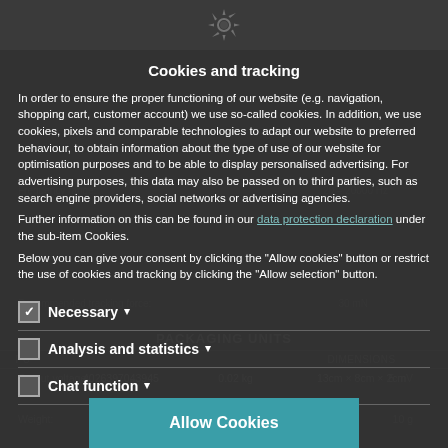Cookies and tracking
In order to ensure the proper functioning of our website (e.g. navigation, shopping cart, customer account) we use so-called cookies. In addition, we use cookies, pixels and comparable technologies to adapt our website to preferred behaviour, to obtain information about the type of use of our website for optimisation purposes and to be able to display personalised advertising. For advertising purposes, this data may also be passed on to third parties, such as search engine providers, social networks or advertising agencies.
Further information on this can be found in our data protection declaration under the sub-item Cookies.
Below you can give your consent by clicking the "Allow cookies" button or restrict the use of cookies and tracking by clicking the "Allow selection" button.
Necessary (checked)
Analysis and statistics (unchecked)
Chat function (unchecked)
Allow selection
Allow Cookies
PACKAGING UNITS
| PU |  | DIMENSIONS |
| --- | --- | --- |
| 1 | 4026397043945 | 0.02 kg | 13cm × 8cm × 2cm |